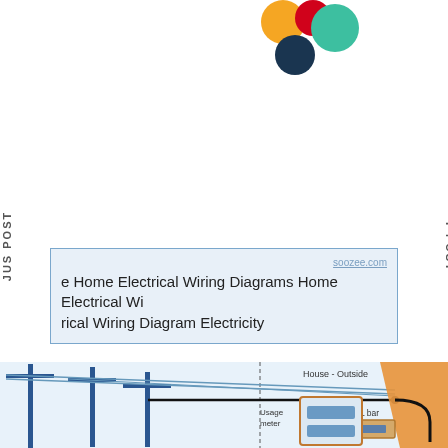[Figure (illustration): Decorative colored circles (orange, red, teal/green, dark navy) arranged at top center of page]
JUS POST
T POST
soozee.com
e Home Electrical Wiring Diagrams Home Electrical Wiring Diagram Electricity
[Figure (engineering-diagram): Home electrical wiring diagram showing utility poles on the left connected via wires to a house entry point on the right. Labels include 'House - Outside', 'L bar', and 'Usage meter'. An orange diagonal beam represents house structure. Black cable curves from connection point down to a usage meter box.]